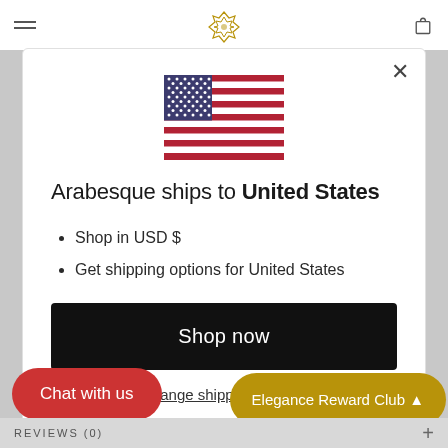[Figure (screenshot): Website navigation bar with hamburger menu icon on left, decorative diamond/knot logo in center, and shopping bag/cart icon on right]
[Figure (illustration): United States flag emoji/icon centered in modal dialog]
Arabesque ships to United States
Shop in USD $
Get shipping options for United States
Shop now
Change shipping country
Chat with us
Elegance Reward Club
REVIEWS (0)